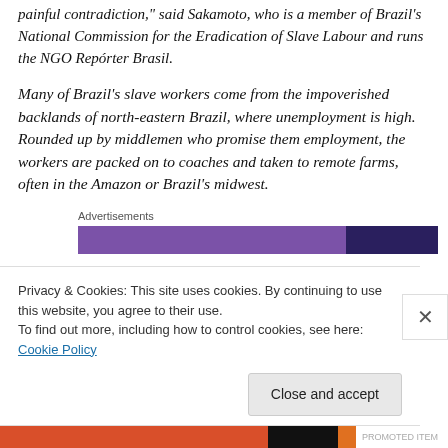painful contradiction," said Sakamoto, who is a member of Brazil's National Commission for the Eradication of Slave Labour and runs the NGO Repórter Brasil.
Many of Brazil's slave workers come from the impoverished backlands of north-eastern Brazil, where unemployment is high. Rounded up by middlemen who promise them employment, the workers are packed on to coaches and taken to remote farms, often in the Amazon or Brazil's midwest.
Advertisements
[Figure (other): Advertisement banner with purple and dark purple horizontal bar sections]
Privacy & Cookies: This site uses cookies. By continuing to use this website, you agree to their use.
To find out more, including how to control cookies, see here: Cookie Policy
[Figure (other): Advertisement banner at bottom with red, black, and orange horizontal bar sections]